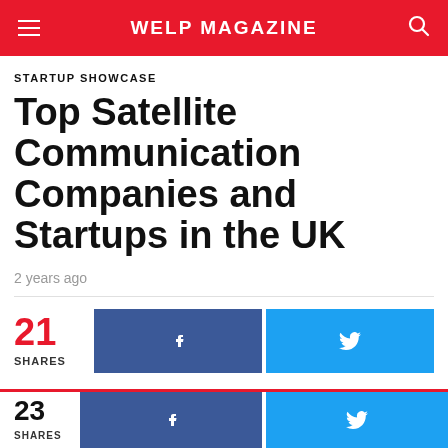WELP MAGAZINE
STARTUP SHOWCASE
Top Satellite Communication Companies and Startups in the UK
2 years ago
21 SHARES
23 SHARES